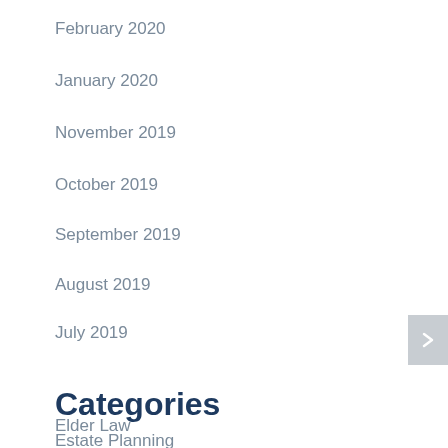February 2020
January 2020
November 2019
October 2019
September 2019
August 2019
July 2019
Categories
Elder Law
Estate Planning